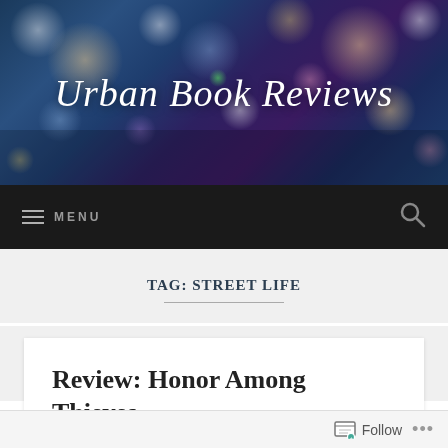[Figure (illustration): Website header banner with bokeh city lights background and 'Urban Book Reviews' text in white cursive font]
MENU (hamburger icon) | Search icon
TAG: STREET LIFE
Review: Honor Among Thieves